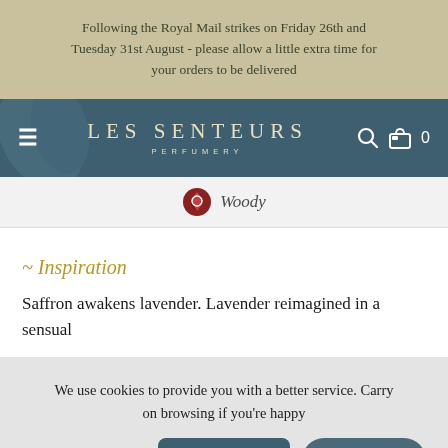Following the Royal Mail strikes on Friday 26th and Tuesday 31st August - please allow a little extra time for your orders to be delivered
[Figure (screenshot): Les Senteurs Perfumery navigation bar with hamburger menu, logo, search icon, and cart showing 0 items]
Woody
~ Inspiration
Saffron awakens lavender. Lavender reimagined in a sensual
We use cookies to provide you with a better service. Carry on browsing if you're happy
Got it!
Chat with us